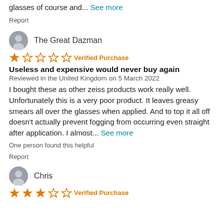glasses of course and... See more
Report
The Great Dazman
1 star - Verified Purchase
Useless and expensive would never buy again
Reviewed in the United Kingdom on 5 March 2022
I bought these as other zeiss products work really well. Unfortunately this is a very poor product. It leaves greasy smears all over the glasses when applied. And to top it all off doesn't actually prevent fogging from occurring even straight after application. I almost... See more
One person found this helpful
Report
Chris
3 stars - Verified Purchase